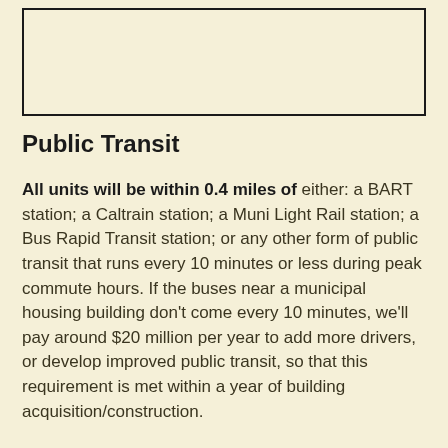[Figure (other): Empty white rectangular box with black border at the top of the page]
Public Transit
All units will be within 0.4 miles of either: a BART station; a Caltrain station; a Muni Light Rail station; a Bus Rapid Transit station; or any other form of public transit that runs every 10 minutes or less during peak commute hours. If the buses near a municipal housing building don't come every 10 minutes, we'll pay around $20 million per year to add more drivers, or develop improved public transit, so that this requirement is met within a year of building acquisition/construction.